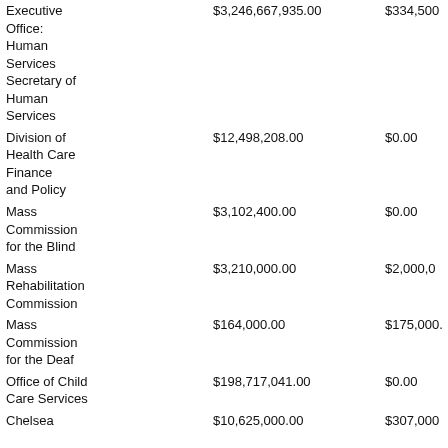| Agency | Amount 1 | Amount 2 |
| --- | --- | --- |
| Executive Office: Human Services Secretary of Human Services | $3,246,667,935.00 | $334,500 |
| Division of Health Care Finance and Policy | $12,498,208.00 | $0.00 |
| Mass Commission for the Blind | $3,102,400.00 | $0.00 |
| Mass Rehabilitation Commission | $3,210,000.00 | $2,000,0… |
| Mass Commission for the Deaf | $164,000.00 | $175,000. |
| Office of Child Care Services | $198,717,041.00 | $0.00 |
| Chelsea | $10,625,000.00 | $307,000… |